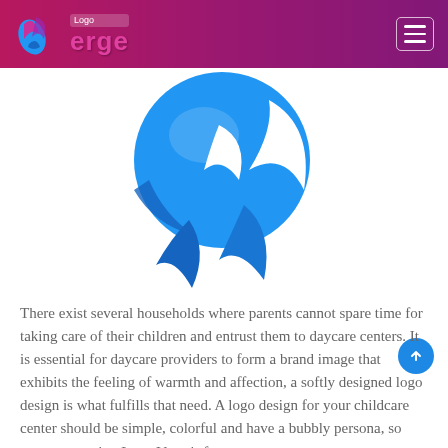Logo Verge
[Figure (logo): Blue swirling bird/dove logo mark with circular swoosh shapes on white background]
There exist several households where parents cannot spare time for taking care of their children and entrust them to daycare centers. It is essential for daycare providers to form a brand image that exhibits the feeling of warmth and affection, a softly designed logo design is what fulfills that need. A logo design for your childcare center should be simple, colorful and have a bubbly persona, so create one using Logo Verge's free